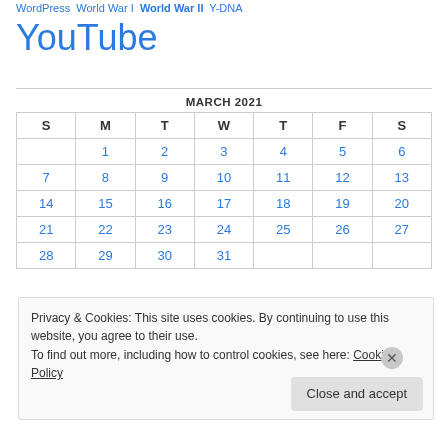WordPress World War I World War II Y-DNA
YouTube
| S | M | T | W | T | F | S |
| --- | --- | --- | --- | --- | --- | --- |
|  | 1 | 2 | 3 | 4 | 5 | 6 |
| 7 | 8 | 9 | 10 | 11 | 12 | 13 |
| 14 | 15 | 16 | 17 | 18 | 19 | 20 |
| 21 | 22 | 23 | 24 | 25 | 26 | 27 |
| 28 | 29 | 30 | 31 |  |  |  |
Privacy & Cookies: This site uses cookies. By continuing to use this website, you agree to their use.
To find out more, including how to control cookies, see here: Cookie Policy
Close and accept